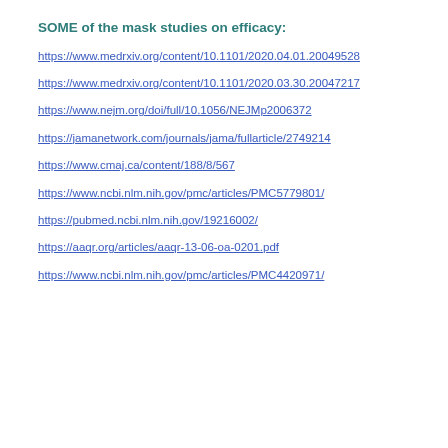SOME of the mask studies on efficacy:
https://www.medrxiv.org/content/10.1101/2020.04.01.20049528
https://www.medrxiv.org/content/10.1101/2020.03.30.20047217
https://www.nejm.org/doi/full/10.1056/NEJMp2006372
https://jamanetwork.com/journals/jama/fullarticle/2749214
https://www.cmaj.ca/content/188/8/567
https://www.ncbi.nlm.nih.gov/pmc/articles/PMC5779801/
https://pubmed.ncbi.nlm.nih.gov/19216002/
https://aaqr.org/articles/aaqr-13-06-oa-0201.pdf
https://www.ncbi.nlm.nih.gov/pmc/articles/PMC4420971/